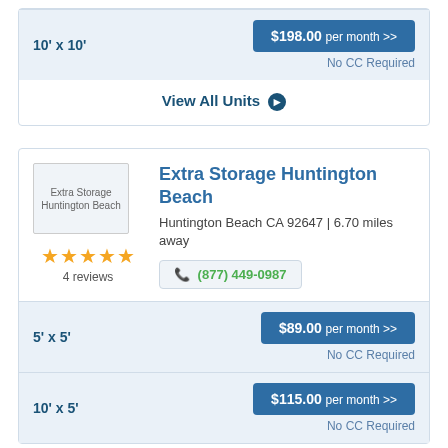10' x 10'
$198.00 per month >>
No CC Required
View All Units
Extra Storage Huntington Beach
Huntington Beach CA 92647 | 6.70 miles away
(877) 449-0987
4 reviews
5' x 5'
$89.00 per month >>
No CC Required
10' x 5'
$115.00 per month >>
No CC Required